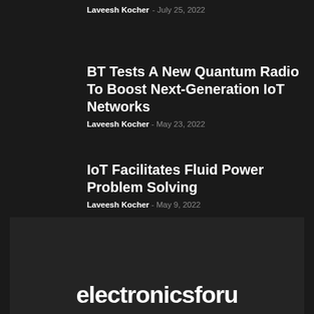Laveesh Kocher - July 25, 2022
BT Tests A New Quantum Radio To Boost Next-Generation IoT Networks
Laveesh Kocher - May 23, 2022
IoT Facilitates Fluid Power Problem Solving
Laveesh Kocher - May 9, 2022
[Figure (logo): Electronics For U logo text in bold white font on dark background]
electronicsforu